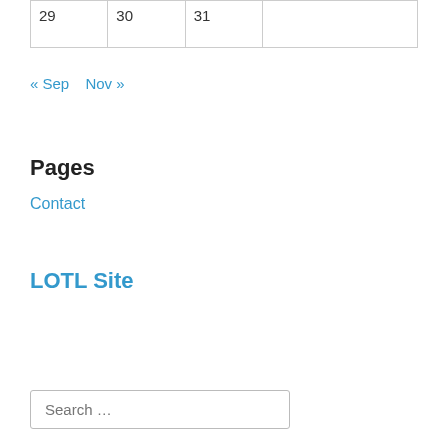| 29 | 30 | 31 |  |
« Sep   Nov »
Pages
Contact
LOTL Site
Search …